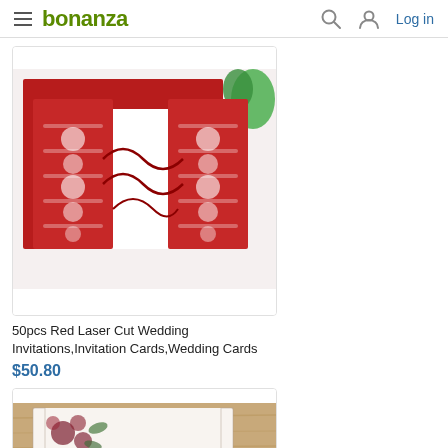bonanza  Log in
[Figure (photo): Red laser cut wedding invitation cards displayed on white background, showing intricate floral and scroll patterns cut from deep red cardstock]
50pcs Red Laser Cut Wedding Invitations,Invitation Cards,Wedding Cards
$50.80
[Figure (photo): Partially visible second product card showing a wedding invitation with floral design on a wooden background]